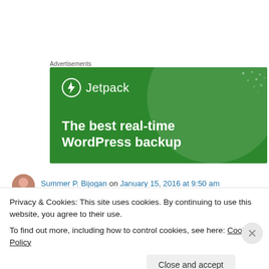Advertisements
[Figure (illustration): Jetpack advertisement banner with green background, circular decorative element, dot pattern, Jetpack logo with lightning bolt icon, and text 'The best real-time WordPress backup']
Summer P. Bijogan on January 15, 2016 at 9:50 am
Privacy & Cookies: This site uses cookies. By continuing to use this website, you agree to their use.
To find out more, including how to control cookies, see here: Cookie Policy
Close and accept